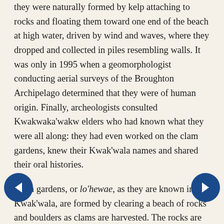they were naturally formed by kelp attaching to rocks and floating them toward one end of the beach at high water, driven by wind and waves, where they dropped and collected in piles resembling walls. It was only in 1995 when a geomorphologist conducting aerial surveys of the Broughton Archipelago determined that they were of human origin. Finally, archeologists consulted Kwakwaka'wakw elders who had known what they were all along: they had even worked on the clam gardens, knew their Kwak'wala names and shared their oral histories.
Clam gardens, or lo'hewae, as they are known in Kwak'wala, are formed by clearing a beach of rocks and boulders as clams are harvested. The rocks are used to build low walls running parallel to the beach in the intertidal zone